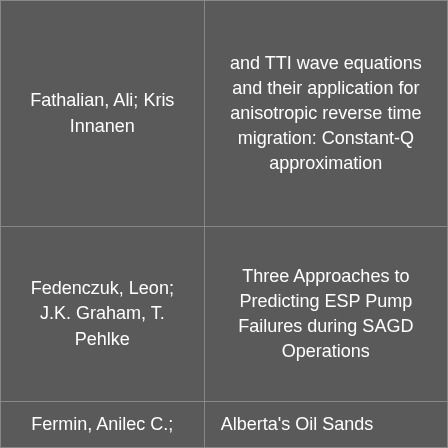| Author | Title |
| --- | --- |
| Fathalian, Ali; Kris Innanen | and TTI wave equations and their application for anisotropic reverse time migration: Constant-Q approximation |
| Fedenczuk, Leon; J.K. Graham, T. Pehlke | Three Approaches to Predicting ESP Pump Failures during SAGD Operations |
| Fermin, Anilec C.; | Alberta's Oil Sands… |